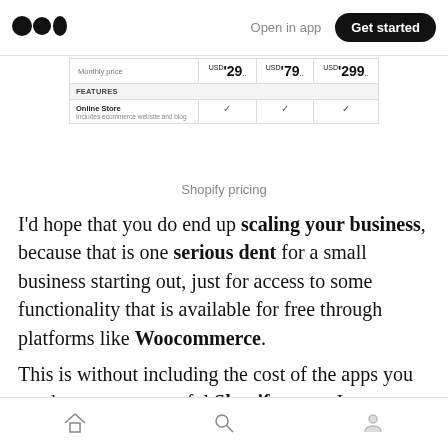Medium logo | Open in app | Get started
[Figure (screenshot): Shopify pricing table showing Monthly price row with $29, $79, $299 columns, FEATURES section header, and Online Store row with checkmarks in all three columns]
Shopify pricing
I'd hope that you do end up scaling your business, because that is one serious dent for a small business starting out, just for access to some functionality that is available for free through platforms like Woocommerce.
This is without including the cost of the apps you need to run a successful Shopify store. In WordPress plugins are a generally free and
Home | Search | Profile navigation icons